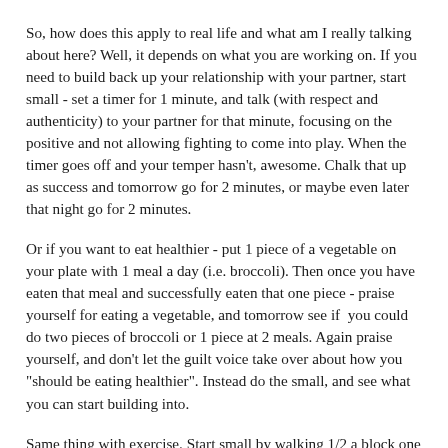So, how does this apply to real life and what am I really talking about here? Well, it depends on what you are working on. If you need to build back up your relationship with your partner, start small - set a timer for 1 minute, and talk (with respect and authenticity) to your partner for that minute, focusing on the positive and not allowing fighting to come into play. When the timer goes off and your temper hasn't, awesome. Chalk that up as success and tomorrow go for 2 minutes, or maybe even later that night go for 2 minutes.
Or if you want to eat healthier - put 1 piece of a vegetable on your plate with 1 meal a day (i.e. broccoli). Then once you have eaten that meal and successfully eaten that one piece - praise yourself for eating a vegetable, and tomorrow see if you could do two pieces of broccoli or 1 piece at 2 meals. Again praise yourself, and don't let the guilt voice take over about how you "should be eating healthier". Instead do the small, and see what you can start building into.
Same thing with exercise. Start small by walking 1/2 a block one day, or for some of you this might even be too big (in that case modify it - like maybe go before dinner or some other time). Then celebrate if...